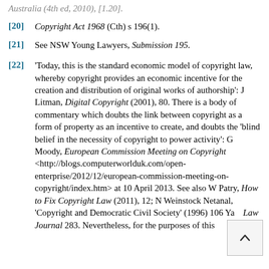Australia (4th ed, 2010), [1.20].
[20]   Copyright Act 1968 (Cth) s 196(1).
[21]   See NSW Young Lawyers, Submission 195.
[22]   'Today, this is the standard economic model of copyright law, whereby copyright provides an economic incentive for the creation and distribution of original works of authorship': J Litman, Digital Copyright (2001), 80. There is a body of commentary which doubts the link between copyright as a form of property as an incentive to create, and doubts the 'blind belief in the necessity of copyright to power activity': G Moody, European Commission Meeting on Copyright <http://blogs.computerworlduk.com/open-enterprise/2012/12/european-commission-meeting-on-copyright/index.htm> at 10 April 2013. See also W Patry, How to Fix Copyright Law (2011), 12; N Weinstock Netanel, 'Copyright and Democratic Civil Society' (1996) 106 Yale Law Journal 283. Nevertheless, for the purposes of this